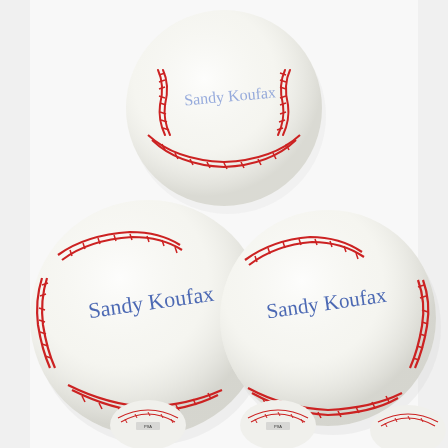[Figure (photo): Six Sandy Koufax autographed baseballs. Three large baseballs arranged in a pyramid formation (one on top, two on bottom) in the upper portion of the image. Each baseball is white with red stitching and signed in blue ink with 'Sandy Koufax'. Three smaller baseballs shown at the bottom of the image. The baseballs appear to be official MLB baseballs with PSA authentication stickers visible on some.]